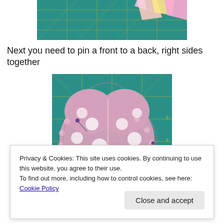[Figure (photo): Top portion of a photo showing colorful fabric pieces on a teal cutting mat]
Next you need to pin a front to a back, right sides together
[Figure (photo): Pink polka dot fabric heart pieces pinned together with sewing pins on a teal cutting mat]
Privacy & Cookies: This site uses cookies. By continuing to use this website, you agree to their use.
To find out more, including how to control cookies, see here: Cookie Policy